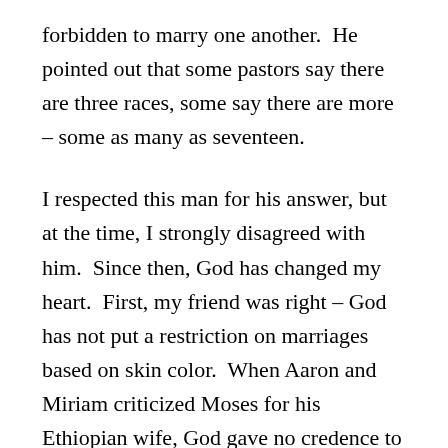forbidden to marry one another.  He pointed out that some pastors say there are three races, some say there are more – some as many as seventeen.
I respected this man for his answer, but at the time, I strongly disagreed with him.  Since then, God has changed my heart.  First, my friend was right – God has not put a restriction on marriages based on skin color.  When Aaron and Miriam criticized Moses for his Ethiopian wife, God gave no credence to their criticism at all, though He did punish Aaron and Miriam for opposing Moses' leadership.  Second, God reversed Babel on the day of Pentecost, when the gospel was heard in the heart languages of – you guessed it – seventeen nationalities (Acts 2:8-11).  Third, God has